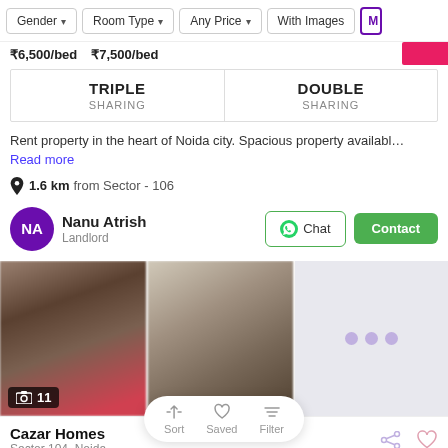Gender | Room Type | Any Price | With Images | M...
₹6,500/bed   ₹7,500/bed
| TRIPLE SHARING | DOUBLE SHARING |
| --- | --- |
Rent property in the heart of Noida city. Spacious property availabl… Read more
1.6 km from Sector - 106
Nanu Atrish
Landlord
[Figure (photo): Room interior photos showing furnished spaces, blurred. Right side shows loading dots on grey background.]
Cazar Homes
Sector 104, Noida